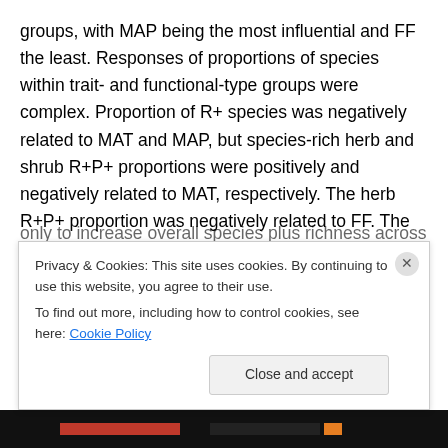groups, with MAP being the most influential and FF the least. Responses of proportions of species within trait- and functional-type groups were complex. Proportion of R+ species was negatively related to MAT and MAP, but species-rich herb and shrub R+P+ proportions were positively and negatively related to MAT, respectively. The herb R+P+ proportion was negatively related to FF. The results were inconsistent with the disturbance frequency and resource competition models of resilience variation. Rises in MAT under climate change have the potential not only to increase overall species plus richness across all
Privacy & Cookies: This site uses cookies. By continuing to use this website, you agree to their use.
To find out more, including how to control cookies, see here: Cookie Policy